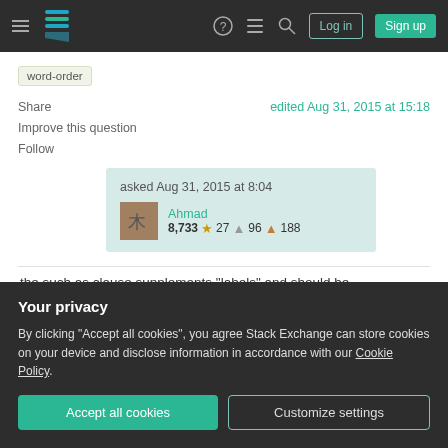Stack Exchange navigation bar with hamburger menu, logo, help, chat, search icons, Log in and Sign up buttons
word-order
Share
Improve this question
Follow
edited Aug 31, 2015 at 15:18
asked Aug 31, 2015 at 8:04
Ahmad
8,733  27  96  188
the such as clause supplements "labels" and should be
Your privacy
By clicking "Accept all cookies", you agree Stack Exchange can store cookies on your device and disclose information in accordance with our Cookie Policy.
Accept all cookies   Customize settings